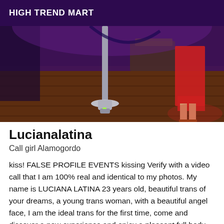HIGH TREND MART
[Figure (photo): Indoor scene on a wooden deck with a pole/heater stand in the center and a person in a red dress visible on the right side, purple-toned ambient lighting]
Lucianalatina
Call girl Alamogordo
kiss! FALSE PROFILE EVENTS kissing Verify with a video call that I am 100% real and identical to my photos. My name is LUCIANA LATINA 23 years old, beautiful trans of your dreams, a young trans woman, with a beautiful angel face, I am the ideal trans for the first time, come and discover a new experience and enjoy a pleasant full body massage in my company . Would you like to live an adventure? Do you want to